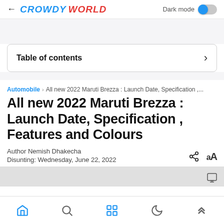CROWDY WORLD — Dark mode toggle
Table of contents
Automobile › All new 2022 Maruti Brezza : Launch Date, Specification,...
All new 2022 Maruti Brezza : Launch Date, Specification , Features and Colours
Author Nemish Dhakecha
Disunting: Wednesday, June 22, 2022
Home | Search | Apps | Dark mode | Top